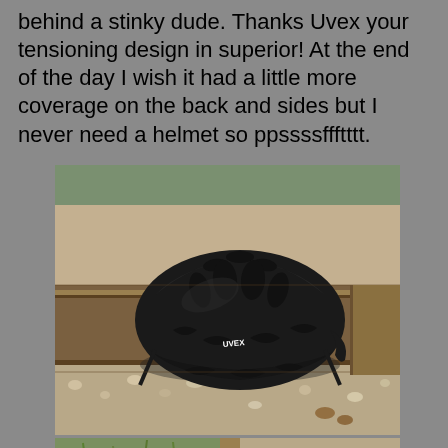behind a stinky dude. Thanks Uvex your tensioning design in superior! At the end of the day I wish it had a little more coverage on the back and sides but I never need a helmet so ppssssffftttt.
[Figure (photo): A matte black Uvex bicycle helmet resting on a wooden beam/rail, with gravel and autumn leaves in the background. The helmet has multiple ventilation slots and the Uvex logo is visible on the side.]
[Figure (photo): Partial view of another photo showing what appears to be related cycling gear or helmet, with grass and gravel visible.]